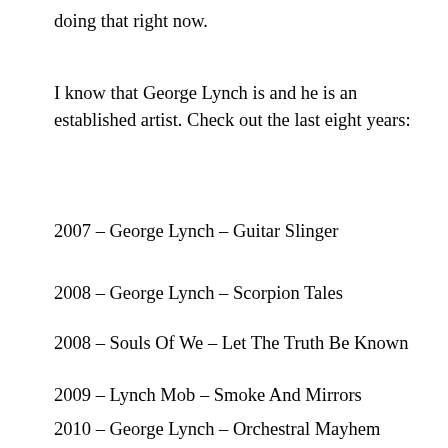doing that right now.
I know that George Lynch is and he is an established artist. Check out the last eight years:
2007 – George Lynch – Guitar Slinger
2008 – George Lynch – Scorpion Tales
2008 – Souls Of We – Let The Truth Be Known
2009 – Lynch Mob – Smoke And Mirrors
2010 – George Lynch – Orchestral Mayhem
2011 – George Lynch – Kill All